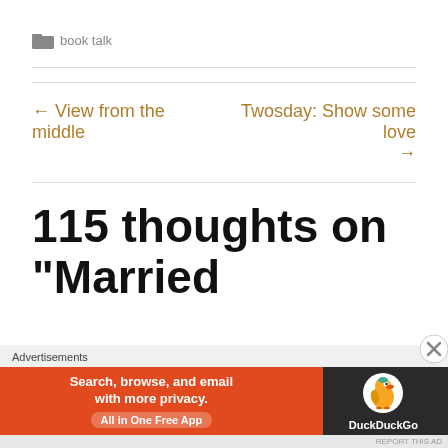book talk
← View from the middle
Twosday: Show some love →
115 thoughts on “Married
Advertisements
[Figure (infographic): DuckDuckGo advertisement banner: Search, browse, and email with more privacy. All in One Free App. Shows DuckDuckGo duck logo on dark background.]